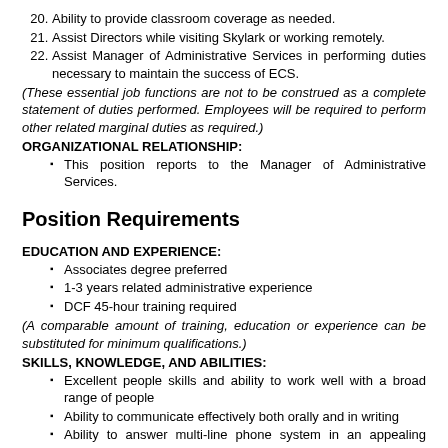20. Ability to provide classroom coverage as needed.
21. Assist Directors while visiting Skylark or working remotely.
22. Assist Manager of Administrative Services in performing duties necessary to maintain the success of ECS.
(These essential job functions are not to be construed as a complete statement of duties performed. Employees will be required to perform other related marginal duties as required.)
ORGANIZATIONAL RELATIONSHIP:
This position reports to the Manager of Administrative Services.
Position Requirements
EDUCATION AND EXPERIENCE:
Associates degree preferred
1-3 years related administrative experience
DCF 45-hour training required
(A comparable amount of training, education or experience can be substituted for minimum qualifications.)
SKILLS, KNOWLEDGE, AND ABILITIES:
Excellent people skills and ability to work well with a broad range of people
Ability to communicate effectively both orally and in writing
Ability to answer multi-line phone system in an appealing manner and direct phone calls accordingly
Ability to multi-task, prioritize and work in a fast-paced environment
Knowledge of Microsoft Office products